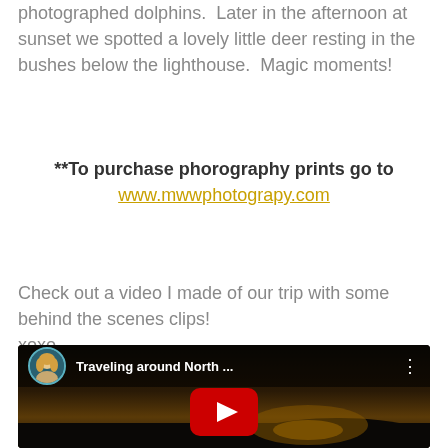photographed dolphins.  Later in the afternoon at sunset we spotted a lovely little deer resting in the bushes below the lighthouse.  Magic moments!
**To purchase phorography prints go to www.mwwphotograpy.com
Check out a video I made of our trip with some behind the scenes clips! xoxo
[Figure (screenshot): YouTube video thumbnail showing 'Traveling around North ...' with a dark sunset/dusk background, a circular avatar of a blonde woman, a red YouTube play button, and a three-dot menu icon.]